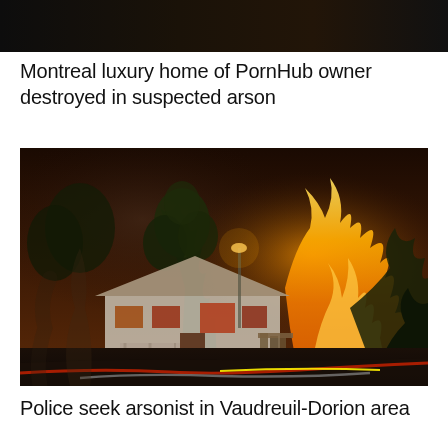[Figure (photo): Dark horizontal banner image at top of page, mostly black/very dark background, appears to be a cropped portion of a fire scene photo]
Montreal luxury home of PornHub owner destroyed in suspected arson
[Figure (photo): Night-time photograph of a house fire in a residential area. A white/light-colored house is visible with large orange flames and smoke rising behind it on the right side. Trees frame the scene. Fire hoses are visible on the ground. The scene is dramatic with glowing orange fire illuminating the night sky.]
Police seek arsonist in Vaudreuil-Dorion area